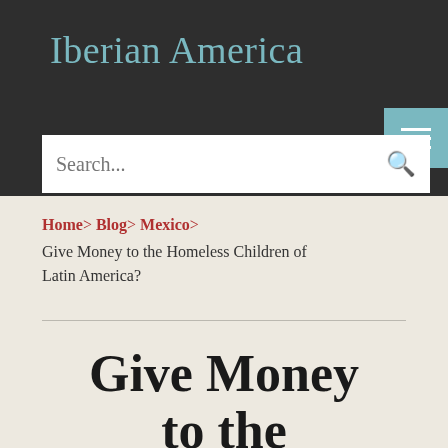Iberian America
Search...
Home> Blog> Mexico> Give Money to the Homeless Children of Latin America?
Give Money to the